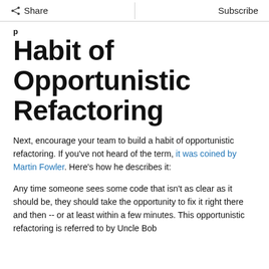Share | Subscribe
Habit of Opportunistic Refactoring
Next, encourage your team to build a habit of opportunistic refactoring. If you've not heard of the term, it was coined by Martin Fowler. Here's how he describes it:
Any time someone sees some code that isn't as clear as it should be, they should take the opportunity to fix it right there and then -- or at least within a few minutes. This opportunistic refactoring is referred to by Uncle Bob